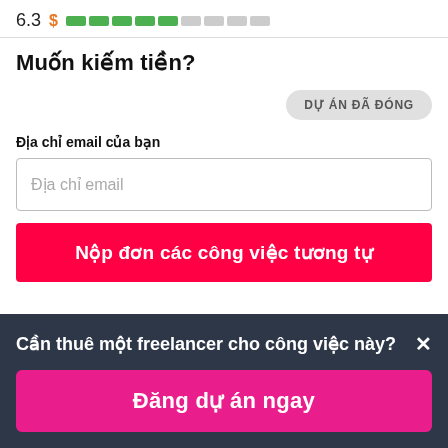[Figure (screenshot): Rating row showing 6.3 score with dollar sign and green/grey bar segments]
Muốn kiếm tiền?
DỰ ÁN ĐÃ ĐÓNG
Địa chỉ email của bạn
Địa chỉ email
Nộp đơn các công việc tương tự
Cần thuê một freelancer cho công việc này? ×
Đăng dự án ngay